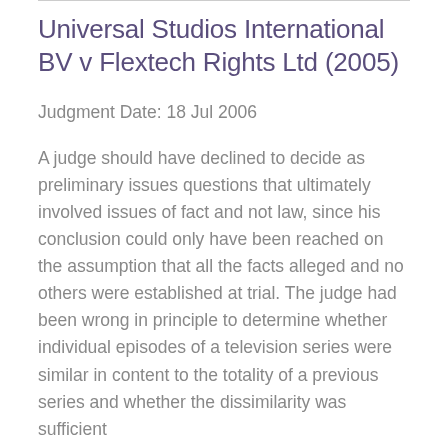Universal Studios International BV v Flextech Rights Ltd (2005)
Judgment Date: 18 Jul 2006
A judge should have declined to decide as preliminary issues questions that ultimately involved issues of fact and not law, since his conclusion could only have been reached on the assumption that all the facts alleged and no others were established at trial. The judge had been wrong in principle to determine whether individual episodes of a television series were similar in content to the totality of a previous series and whether the dissimilarity was sufficient